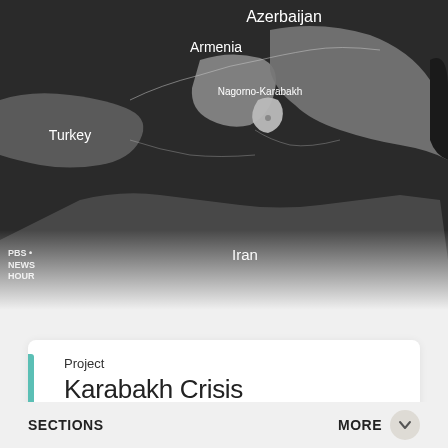[Figure (map): Dark-background map showing the South Caucasus region including Turkey, Armenia, Azerbaijan, Nagorno-Karabakh, and Iran with country/region labels in white text.]
Project
Karabakh Crisis
READ MORE ABOUT THIS PROJECT
SECTIONS
MORE